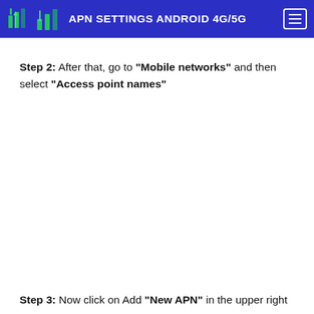APN SETTINGS ANDROID 4G/5G
Step 2: After that, go to "Mobile networks" and then select "Access point names"
Step 3: Now click on Add "New APN" in the upper right